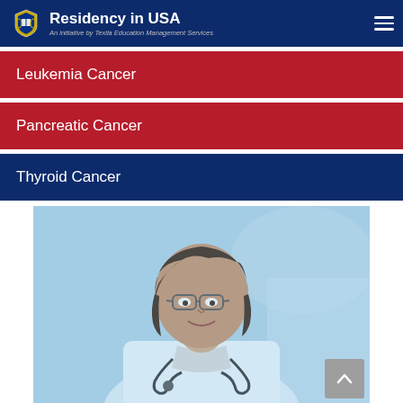Residency in USA — An initiative by Texila Education Management Services
Leukemia Cancer
Pancreatic Cancer
Thyroid Cancer
[Figure (photo): Female doctor in white coat wearing glasses and stethoscope, smiling, with a blue-tinted overlay on the image]